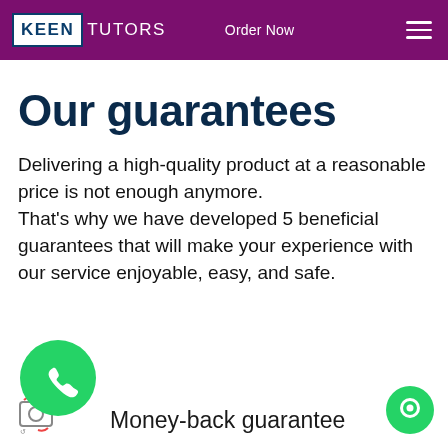KEEN TUTORS  Order Now
Our guarantees
Delivering a high-quality product at a reasonable price is not enough anymore. That's why we have developed 5 beneficial guarantees that will make your experience with our service enjoyable, easy, and safe.
[Figure (logo): WhatsApp green circle button with phone icon]
Money-back guarantee
[Figure (other): Green chat bubble button (bottom right)]